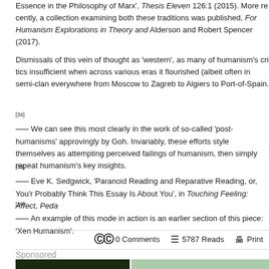Essence in the Philosophy of Marx', Thesis Eleven 126:1 (2015). More recently, a collection examining both these traditions was published, For Humanism Explorations in Theory and Practice, edited by Derek Alderson and Robert Spencer (2017).
Dismissals of this vein of thought as 'western', as many of humanism's critics have levelled, seem insufficient when across various eras it flourished (albeit often in semi-clandestine form) everywhere from Moscow to Zagreb to Algiers to Port-of-Spain.
[34] We can see this most clearly in the work of so-called 'post-humanisms' cited approvingly by Goh. Invariably, these efforts style themselves as attempting to move beyond perceived failings of humanism, then simply repeat humanism's key insights.
[35] Eve K. Sedgwick, 'Paranoid Reading and Reparative Reading, or, You're Probably Think This Essay Is About You', in Touching Feeling: Affect, Ped...
[36] An example of this mode in action is an earlier section of this piece: 'Xe... Humanism'.
0 Comments   5787 Reads   Print
Sponsored
[Figure (photo): Two photos side by side: left shows a dark green/Christmas scene, right shows a colorful illustrated Christmas tree scene.]